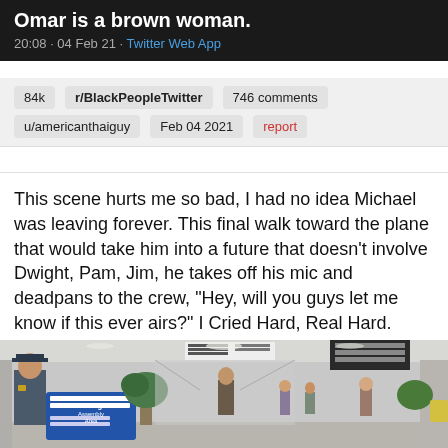Omar is a brown woman.
20:08 · 04 Feb 21 · Twitter Web App
84k   r/BlackPeopleTwitter   746 comments
u/americanthaiguy   Feb 04 2021   report
This scene hurts me so bad, I had no idea Michael was leaving forever. This final walk toward the plane that would take him into a future that doesn't involve Dwight, Pam, Jim, he takes off his mic and deadpans to the crew, "Hey, will you guys let me know if this ever airs?" I Cried Hard, Real Hard.
[Figure (photo): Airport terminal interior with a TSA officer on the left, passengers in the background, blue 'Passenger Assembly Area' sign visible, and an information board on the wall.]